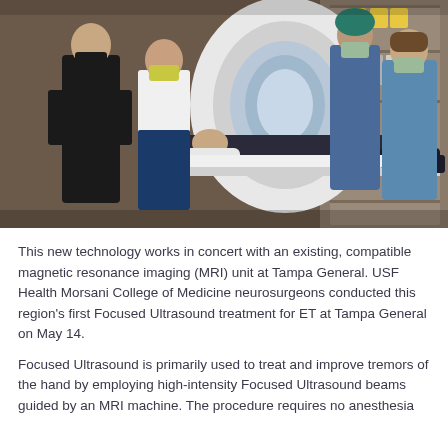[Figure (photo): Four medical professionals wearing masks stand around an MRI machine. A patient in dark clothing lies on the MRI table. Two people in black scrubs stand to the left, one in a white shirt faces the machine, and two people in blue/teal scrubs and surgical caps stand to the right near shelving with medical supplies.]
This new technology works in concert with an existing, compatible magnetic resonance imaging (MRI) unit at Tampa General. USF Health Morsani College of Medicine neurosurgeons conducted this region's first Focused Ultrasound treatment for ET at Tampa General on May 14.
Focused Ultrasound is primarily used to treat and improve tremors of the hand by employing high-intensity Focused Ultrasound beams guided by an MRI machine. The procedure requires no anesthesia